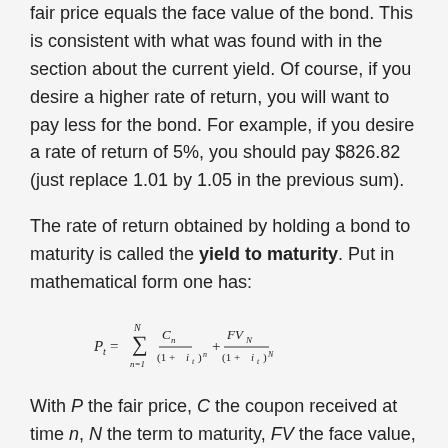fair price equals the face value of the bond. This is consistent with what was found with in the section about the current yield. Of course, if you desire a higher rate of return, you will want to pay less for the bond. For example, if you desire a rate of return of 5%, you should pay $826.82 (just replace 1.01 by 1.05 in the previous sum).
The rate of return obtained by holding a bond to maturity is called the yield to maturity. Put in mathematical form one has:
With P the fair price, C the coupon received at time n, N the term to maturity, FV the face value, and i the yield to